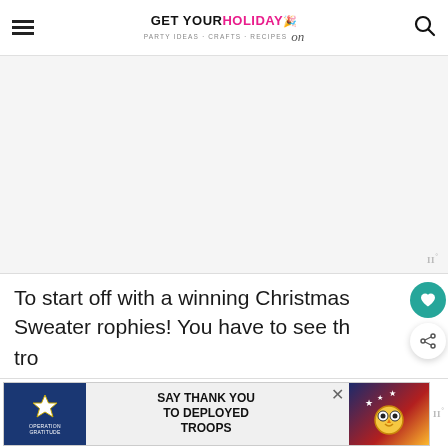GET YOUR HOLIDAY on — PARTY IDEAS · CRAFTS · RECIPES
[Figure (other): Gray placeholder advertisement box]
To start off with a winning Christmas Sweater rophies! You have to see th tro
[Figure (other): Operation Gratitude banner ad: SAY THANK YOU TO DEPLOYED TROOPS]